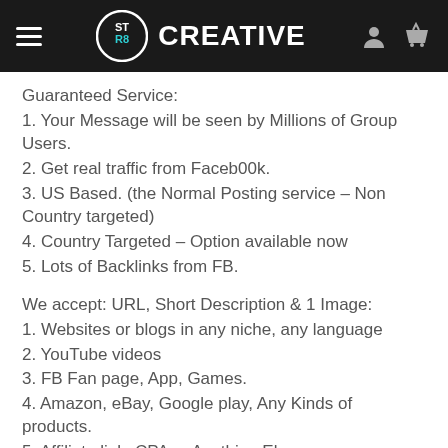STR8 CREATIVE
Guaranteed Service:
1. Your Message will be seen by Millions of Group Users.
2. Get real traffic from Faceb00k.
3. US Based. (the Normal Posting service – Non Country targeted)
4. Country Targeted – Option available now
5. Lots of Backlinks from FB.
We accept: URL, Short Description & 1 Image:
1. Websites or blogs in any niche, any language
2. YouTube videos
3. FB Fan page, App, Games.
4. Amazon, eBay, Google play, Any Kinds of products.
5. Affiliate link, CPA or Anything Else.